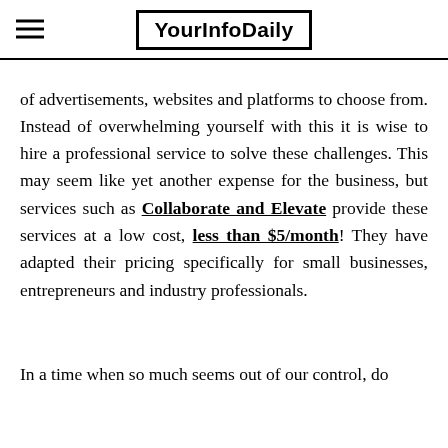YourInfoDaily
of advertisements, websites and platforms to choose from. Instead of overwhelming yourself with this it is wise to hire a professional service to solve these challenges. This may seem like yet another expense for the business, but services such as Collaborate and Elevate provide these services at a low cost, less than $5/month! They have adapted their pricing specifically for small businesses, entrepreneurs and industry professionals.
In a time when so much seems out of our control, do